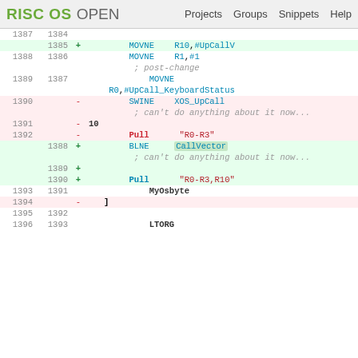RISC OS OPEN  Projects  Groups  Snippets  Help
| old | new | sign | code |
| --- | --- | --- | --- |
| 1387 | 1384 |  |  |
|  | 1385 | + |         MOVNE    R10,#UpCallV |
| 1388 | 1386 |  |         MOVNE    R1,#1 |
|  |  |  |         ; post-change |
| 1389 | 1387 |  |         MOVNE |
|  |  |  | R0,#UpCall_KeyboardStatus |
| 1390 |  | - |         SWINE    XOS_UpCall |
|  |  |  |         ; can't do anything about it now... |
| 1391 |  | - | 10 |
| 1392 |  | - |         Pull    "R0-R3" |
|  | 1388 | + |         BLNE     CallVector |
|  |  |  |         ; can't do anything about it now... |
|  | 1389 | + |  |
|  | 1390 | + |         Pull    "R0-R3,R10" |
| 1393 | 1391 |  |         MyOsbyte |
| 1394 |  | - |    ] |
| 1395 | 1392 |  |  |
| 1396 | 1393 |  |         LTORG |